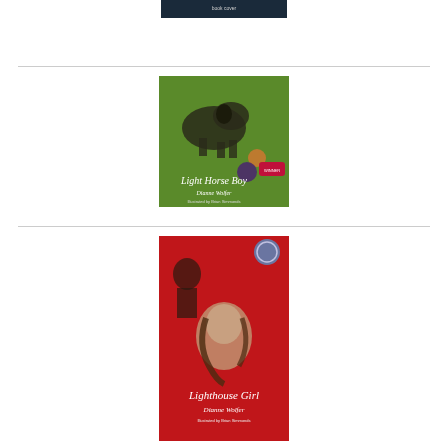[Figure (illustration): Book cover of 'Light Horse Boy' by Dianne Wolfer, illustrated on a green background with a soldier on horseback and award medal stickers]
[Figure (illustration): Book cover of 'Lighthouse Girl' by Dianne Wolfer, illustrated on a red background with a young woman's portrait and an award medal sticker]